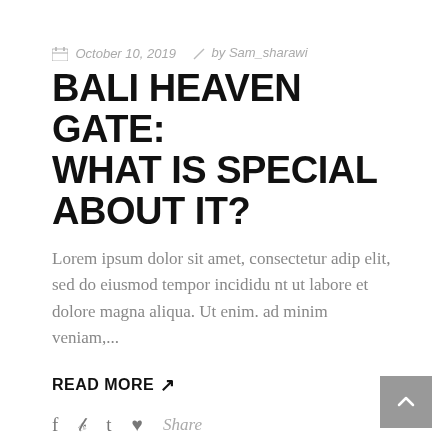October 10, 2019  by Sam_sharawi
BALI HEAVEN GATE: WHAT IS SPECIAL ABOUT IT?
Lorem ipsum dolor sit amet, consectetur adip elit, sed do eiusmod tempor incididu nt ut labore et dolore magna aliqua. Ut enim. ad minim veniam,...
READ MORE ↗
f  𝕿  t  ℘  Share